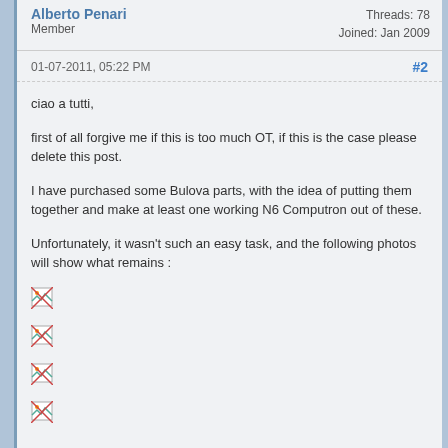Member
Threads: 78
Joined: Jan 2009
01-07-2011, 05:22 PM
#2
ciao a tutti,
first of all forgive me if this is too much OT, if this is the case please delete this post.
I have purchased some Bulova parts, with the idea of putting them together and make at least one working N6 Computron out of these.
Unfortunately, it wasn't such an easy task, and the following photos will show what remains :
[Figure (photo): Broken/missing image placeholder 1]
[Figure (photo): Broken/missing image placeholder 2]
[Figure (photo): Broken/missing image placeholder 3]
[Figure (photo): Broken/missing image placeholder 4]